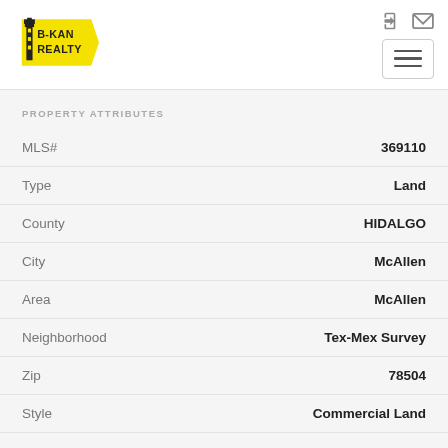[Figure (logo): B-KAN REALTY logo with a lighthouse/tower icon on a yellow banner]
PROPERTY ATTRIBUTES
| Attribute | Value |
| --- | --- |
| MLS# | 369110 |
| Type | Land |
| County | HIDALGO |
| City | McAllen |
| Area | McAllen |
| Neighborhood | Tex-Mex Survey |
| Zip | 78504 |
| Style | Commercial Land |